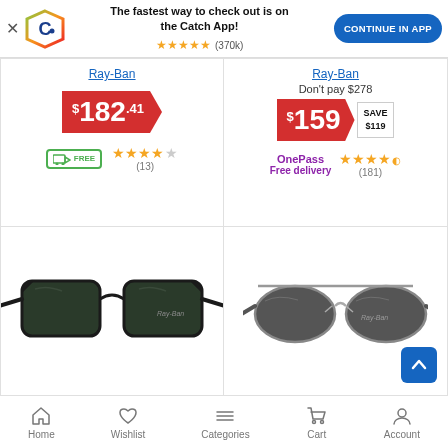[Figure (screenshot): Catch app promotional banner with logo, star rating, and continue in app button]
Ray-Ban
$182.41
(13)
Ray-Ban
Don't pay $278
$159 SAVE $119
OnePass Free delivery
(181)
[Figure (photo): Ray-Ban Wayfarer black sunglasses]
[Figure (photo): Ray-Ban aviator/rectangular metal frame sunglasses in grey]
Home  Wishlist  Categories  Cart  Account